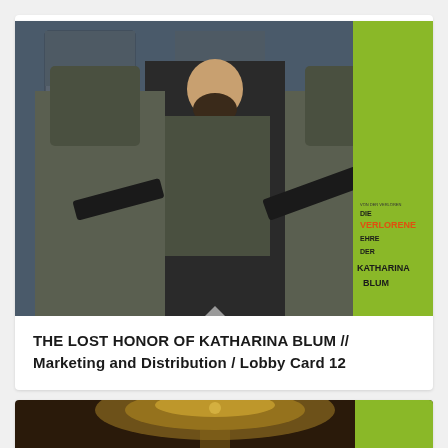[Figure (photo): Movie lobby card showing a man with a beard standing between two figures in military/police gear holding weapons, next to a green movie poster reading 'DIE VERLORENE EHRE DER KATHARINA BLUM']
THE LOST HONOR OF KATHARINA BLUM // Marketing and Distribution / Lobby Card 12
[Figure (photo): Partial view of another lobby card showing a decorative chandelier or ornate object at the bottom of the page]